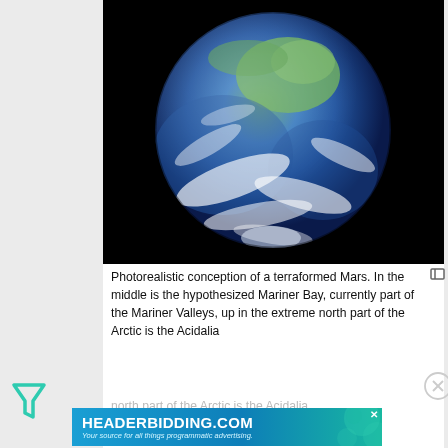[Figure (photo): Photorealistic satellite-style image of a terraformed Mars appearing as a blue-and-green Earth-like planet against a black background]
Photorealistic conception of a terraformed Mars. In the middle is the hypothesized Mariner Bay, currently part of the Mariner Valleys, up in the extreme north part of the Arctic is the Acidalia
[Figure (other): Advertisement banner for HEADERBIDDING.COM — Your source for all things programmatic advertising.]
In its astrobiology roadmap, NASA has defined the